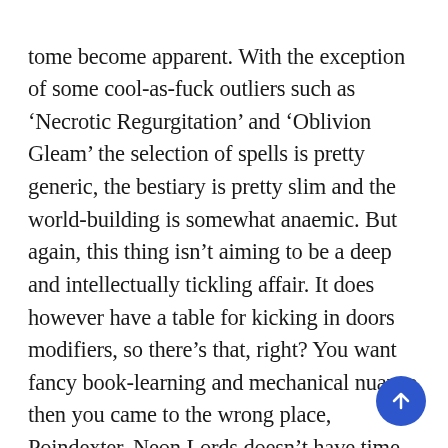tome become apparent. With the exception of some cool-as-fuck outliers such as 'Necrotic Regurgitation' and 'Oblivion Gleam' the selection of spells is pretty generic, the bestiary is pretty slim and the world-building is somewhat anaemic. But again, this thing isn't aiming to be a deep and intellectually tickling affair. It does however have a table for kicking in doors modifiers, so there's that, right? You want fancy book-learning and mechanical nuance then you came to the wrong place, Poindexter. Neon Lords doesn't have time for your crap thesis on the 80's as cultural touchstone. It came to one-shot, bloodt, full-throt. Let's rot!